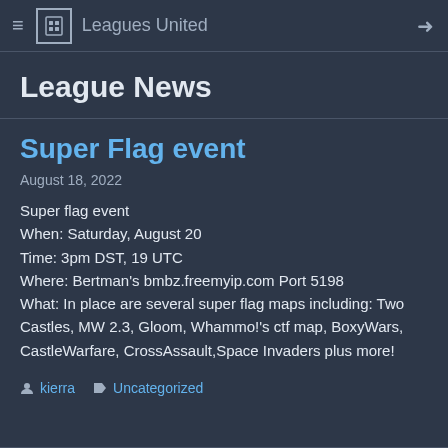Leagues United
League News
Super Flag event
August 18, 2022
Super flag event
When: Saturday, August 20
Time: 3pm DST, 19 UTC
Where: Bertman's bmbz.freemyip.com Port 5198
What: In place are several super flag maps including: Two Castles, MW 2.3, Gloom, Whammo!'s ctf map, BoxyWars, CastleWarfare, CrossAssault,Space Invaders plus more!
kierra   Uncategorized